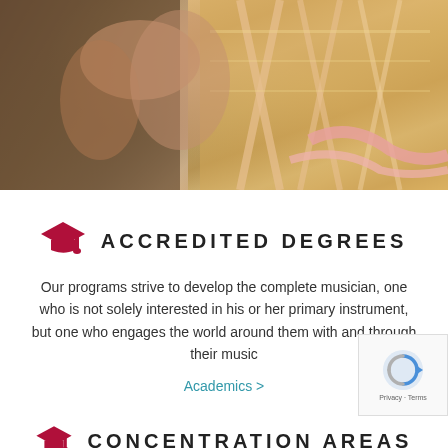[Figure (photo): Close-up photo of a ballet dancer's torso and hands, wearing a yellow/gold corset-style bodice with ribbon lacing and pink satin ribbons, warm sepia/brown tones]
ACCREDITED DEGREES
Our programs strive to develop the complete musician, one who is not solely interested in his or her primary instrument, but one who engages the world around them with and through their music
Academics >
CONCENTRATION AREAS